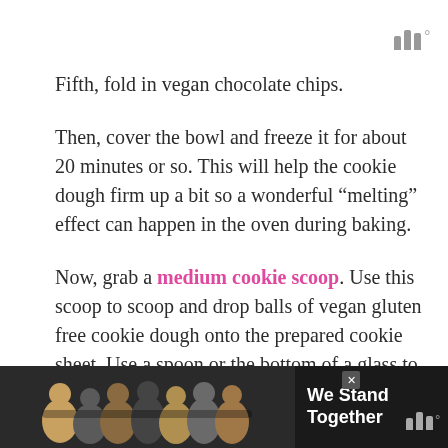W° logo
Fifth, fold in vegan chocolate chips.
Then, cover the bowl and freeze it for about 20 minutes or so. This will help the cookie dough firm up a bit so a wonderful “melting” effect can happen in the oven during baking.
Now, grab a medium cookie scoop. Use this scoop to scoop and drop balls of vegan gluten free cookie dough onto the prepared cookie sheet. Use a spoon or the bottom of a glass to flatten the cookies just a bit.
[Figure (photo): Advertisement banner at the bottom of the page showing a group of people from behind with their arms around each other, with text 'We Stand Together' on dark background, and a close button and W° logo.]